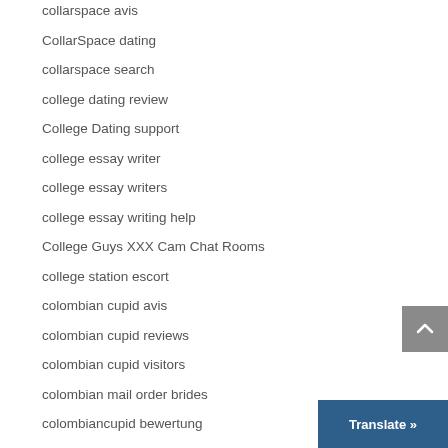collarspace avis
CollarSpace dating
collarspace search
college dating review
College Dating support
college essay writer
college essay writers
college essay writing help
College Guys XXX Cam Chat Rooms
college station escort
colombian cupid avis
colombian cupid reviews
colombian cupid visitors
colombian mail order brides
colombiancupid bewertung